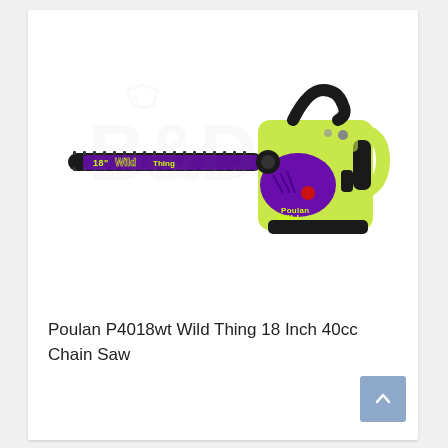[Figure (photo): Poulan P4018wt Wild Thing 18 Inch 40cc Chain Saw product photo. The chainsaw has a lime-green body with purple bar and purple engine cover. The bar reads '18 Wild Thing' in purple lettering. A watermark of a star/badge logo is visible in the background.]
Poulan P4018wt Wild Thing 18 Inch 40cc Chain Saw